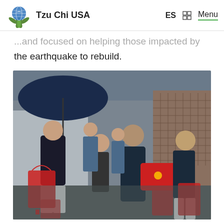Tzu Chi USA   ES   Menu
...and focused on helping those impacted by the earthquake to rebuild.
[Figure (photo): Group of people outdoors on a rainy street handing red gift bags to a man, with others smiling in the background. Scene appears to be a Tzu Chi disaster relief distribution event.]